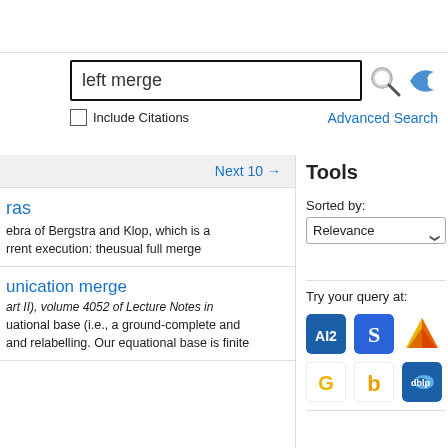[Figure (screenshot): Search bar with text 'left merge', search icon, and arrow icon]
Include Citations
Advanced Search
Next 10 →
ras
ebra of Bergstra and Klop, which is a rrent execution: theusual full merge
unication merge
art II), volume 4052 of Lecture Notes in
uational base (i.e., a ground-complete and and relabelling. Our equational base is finite
Tools
Sorted by:
Relevance
Try your query at:
[Figure (logo): AI2 logo (blue square with A12 text)]
[Figure (logo): Google Scholar logo (blue S)]
[Figure (logo): Colorful triangular logo]
[Figure (logo): Google colored G logo]
[Figure (logo): Bing logo (yellow b)]
[Figure (logo): DBLP logo (blue fish)]